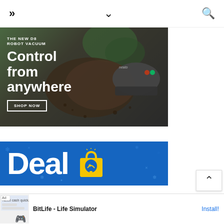navigation header with menu, chevron, and search icons
[Figure (photo): Neato D8 Robot Vacuum advertisement. Dark background with plant and spilled soil. Text: THE NEW D8 ROBOT VACUUM, Control from anywhere, SHOP NOW button.]
[Figure (photo): Blue deal advertisement banner with large white 'Deal' text and yellow shopping bag icon with bell, snowflake decorations on blue background.]
[Figure (screenshot): BitLife Life Simulator app advertisement at bottom of screen with Install button.]